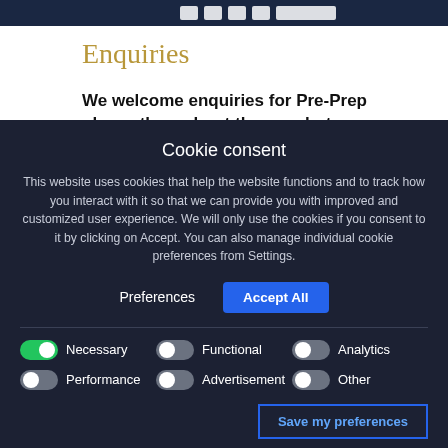[Figure (screenshot): Dark blue header banner with white text/logo, partially cropped]
Enquiries
We welcome enquiries for Pre-Prep places throughout the year but advise
Cookie consent

This website uses cookies that help the website functions and to track how you interact with it so that we can provide you with improved and customized user experience. We will only use the cookies if you consent to it by clicking on Accept. You can also manage individual cookie preferences from Settings.
Preferences  Accept All
Necessary  Functional  Analytics  Performance  Advertisement  Other
Save my preferences